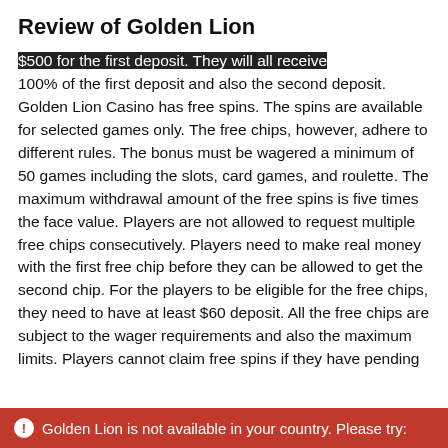Review of Golden Lion
$500 for the first deposit. They will all receive 100% of the first deposit and also the second deposit. Golden Lion Casino has free spins. The spins are available for selected games only. The free chips, however, adhere to different rules. The bonus must be wagered a minimum of 50 games including the slots, card games, and roulette. The maximum withdrawal amount of the free spins is five times the face value. Players are not allowed to request multiple free chips consecutively. Players need to make real money with the first free chip before they can be allowed to get the second chip. For the players to be eligible for the free chips, they need to have at least $60 deposit. All the free chips are subject to the wager requirements and also the maximum limits. Players cannot claim free spins if they have pending
Golden Lion is not available in your country. Please try: